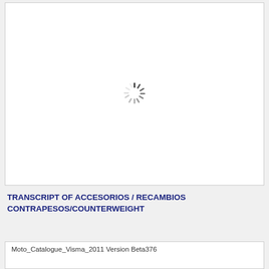[Figure (other): White rectangle with a loading spinner (sunburst/radial lines) icon centered in it, indicating an image is loading.]
TRANSCRIPT OF ACCESORIOS / RECAMBIOS CONTRAPESOS/COUNTERWEIGHT
Moto_Catalogue_Visma_2011 Version Beta376